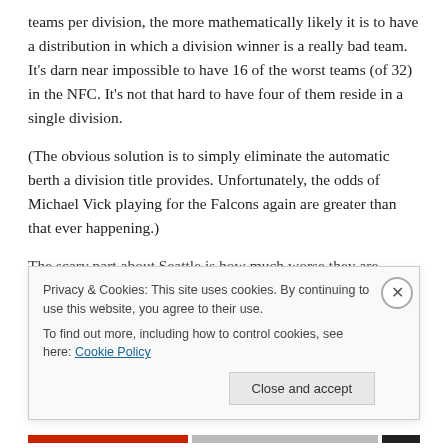teams per division, the more mathematically likely it is to have a distribution in which a division winner is a really bad team. It's darn near impossible to have 16 of the worst teams (of 32) in the NFC. It's not that hard to have four of them reside in a single division.
(The obvious solution is to simply eliminate the automatic berth a division title provides. Unfortunately, the odds of Michael Vick playing for the Falcons again are greater than that ever happening.)
The scary part about Seattle is how much worse they are
Privacy & Cookies: This site uses cookies. By continuing to use this website, you agree to their use.
To find out more, including how to control cookies, see here: Cookie Policy